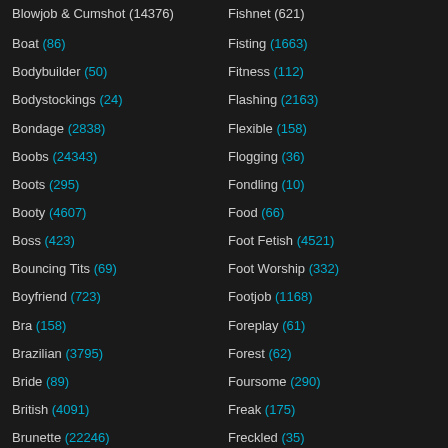Blowjob & Cumshot (14376) | Fishnet (621)
Boat (86) | Fisting (1663)
Bodybuilder (50) | Fitness (112)
Bodystockings (24) | Flashing (2163)
Bondage (2838) | Flexible (158)
Boobs (24343) | Flogging (36)
Boots (295) | Fondling (10)
Booty (4607) | Food (66)
Boss (423) | Foot Fetish (4521)
Bouncing Tits (69) | Foot Worship (332)
Boyfriend (723) | Footjob (1168)
Bra (158) | Foreplay (61)
Brazilian (3795) | Forest (62)
Bride (89) | Foursome (290)
British (4091) | Freak (175)
Brunette (22246) | Freckled (35)